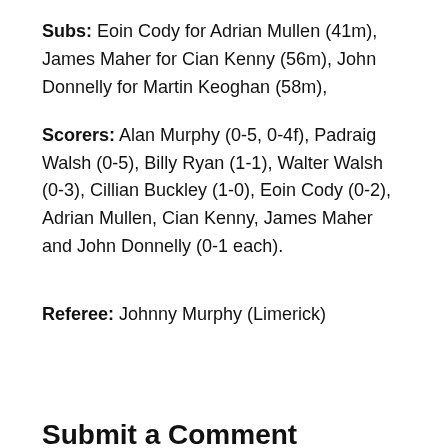Subs: Eoin Cody for Adrian Mullen (41m), James Maher for Cian Kenny (56m), John Donnelly for Martin Keoghan (58m),
Scorers: Alan Murphy (0-5, 0-4f), Padraig Walsh (0-5), Billy Ryan (1-1), Walter Walsh (0-3), Cillian Buckley (1-0), Eoin Cody (0-2), Adrian Mullen, Cian Kenny, James Maher and John Donnelly (0-1 each).
Referee: Johnny Murphy (Limerick)
Submit a Comment
Your email address will not be published. Required